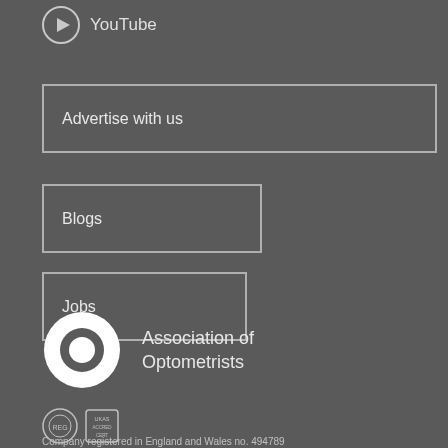[Figure (logo): YouTube play button circle icon with 'YouTube' text label]
Advertise with us
Blogs
Jobs
[Figure (logo): Association of Optometrists logo - white circle with inner circle (donut shape) alongside text 'Association of Optometrists']
[Figure (logo): Two certification/accreditation badge logos]
Company registered in England and Wales no. 494789